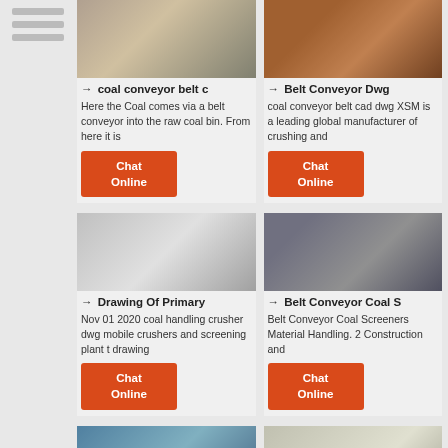[Figure (photo): Industrial warehouse interior with equipment and boxes]
→ coal conveyor belt c
Here the Coal comes via a belt conveyor into the raw coal bin. From here it is
[Figure (photo): Excavator working outdoors on brown soil/coal]
→ Belt Conveyor Dwg
coal conveyor belt cad dwg XSM is a leading global manufacturer of crushing and
[Figure (photo): Industrial grinding/milling machine in factory]
→ Drawing Of Primary
Nov 01 2020 coal handling crusher dwg mobile crushers and screening plant t drawing
[Figure (photo): Industrial machinery/crusher equipment in factory hall]
→ Belt Conveyor Coal S
Belt Conveyor Coal Screeners Material Handling. 2 Construction and
[Figure (photo): Bottom left preview image - blueish industrial scene]
[Figure (photo): Bottom right preview image - light grey industrial equipment]